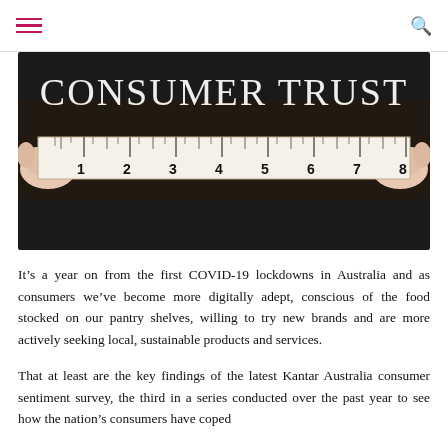≡  🔍
[Figure (photo): Photo of hands holding a measuring tape against a dark chalkboard background with the text 'CONSUMER TRUST' written in chalk above the ruler markings 1 through 8.]
It's a year on from the first COVID-19 lockdowns in Australia and as consumers we've become more digitally adept, conscious of the food stocked on our pantry shelves, willing to try new brands and are more actively seeking local, sustainable products and services.
That at least are the key findings of the latest Kantar Australia consumer sentiment survey, the third in a series conducted over the past year to see how the nation's consumers have coped